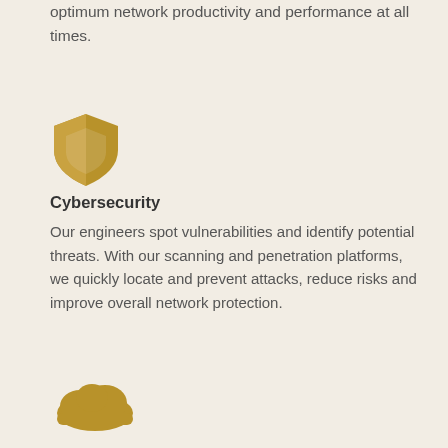optimum network productivity and performance at all times.
[Figure (illustration): Gold/yellow shield icon with half filled design representing cybersecurity]
Cybersecurity
Our engineers spot vulnerabilities and identify potential threats. With our scanning and penetration platforms, we quickly locate and prevent attacks, reduce risks and improve overall network protection.
[Figure (illustration): Gold/yellow cloud icon representing cloud computing]